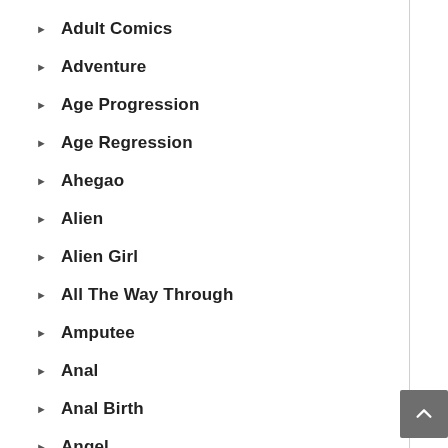Adult Comics
Adventure
Age Progression
Age Regression
Ahegao
Alien
Alien Girl
All The Way Through
Amputee
Anal
Anal Birth
Angel
Animated